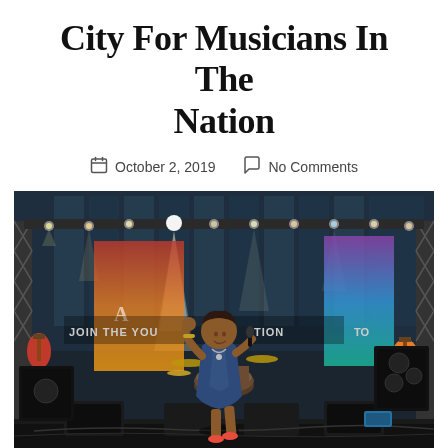City For Musicians In The Nation
October 2, 2019   No Comments
[Figure (photo): A woman in a blue dress stands on a concert stage, holding a microphone and waving her hand. Behind her is a drum kit, stage lighting, speaker monitors at the front of the stage, guitars on stands, and a large glass building backdrop with colorful banners reading 'JOIN THE YOUTH NATION'.]